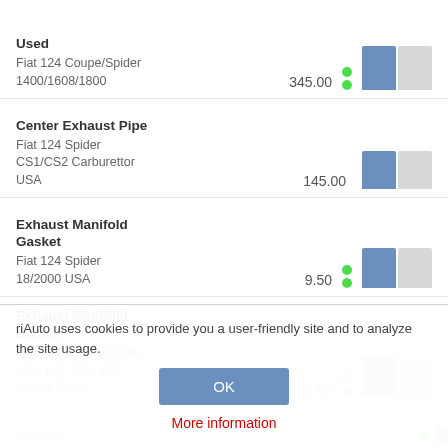Used
Fiat 124 Coupe/Spider 1400/1608/1800
345.00
Center Exhaust Pipe
Fiat 124 Spider CS1/CS2 Carburettor USA
145.00
Exhaust Manifold Gasket
Fiat 124 Spider 18/2000 USA
9.50
Exhaust Manifold Gasket
Fiat 124 Coupe/Spider, 124, 125, 131, 132 – Lancia Beta
8.50
riAuto uses cookies to provide you a user-friendly site and to analyze the site usage.
OK
More information
(not US)